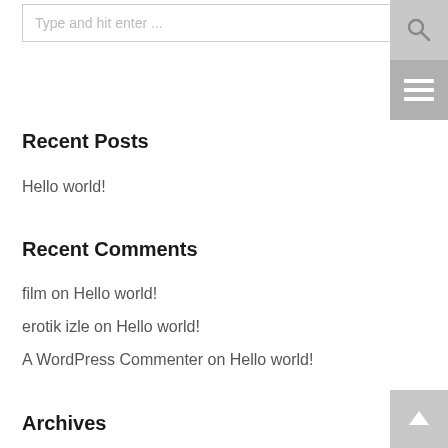Type and hit enter ...
Recent Posts
Hello world!
Recent Comments
film on Hello world!
erotik izle on Hello world!
A WordPress Commenter on Hello world!
Archives